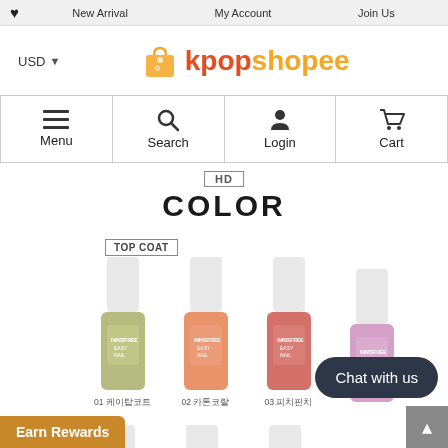♥  New Arrival  My Account  Join Us
[Figure (logo): Kpopshopee logo with shopping bag icon, USD selector on left]
[Figure (other): Navigation bar with Menu (hamburger), Search (magnifying glass), Login (person icon), Cart (cart icon)]
HD COLOR
TOP COAT
[Figure (photo): Four nail polish bottles: 01 케이탑코트 (green), 02 카톤코랄 (coral/peach), 03 피치핀치 (salmon/pink), and a fourth unlabeled (lavender/pink). Partial second row visible below.]
01 케이탑코트  02 카톤코랄  03 피치핀치
Chat with us
Earn Rewards